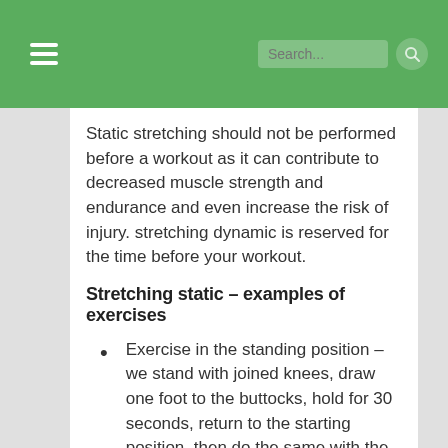Static stretching should not be performed before a workout as it can contribute to decreased muscle strength and endurance and even increase the risk of injury. stretching dynamic is reserved for the time before your workout.
Stretching static – examples of exercises
Exercise in the standing position – we stand with joined knees, draw one foot to the buttocks, hold for 30 seconds, return to the starting position, then do the same with the other foot.